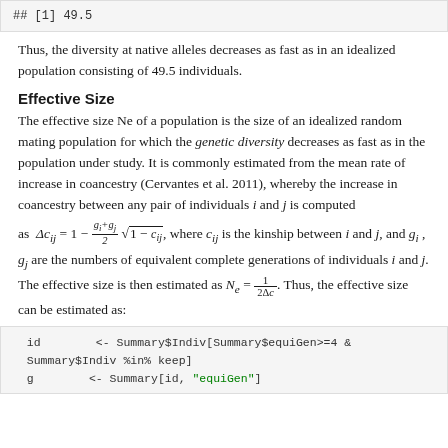## [1] 49.5
Thus, the diversity at native alleles decreases as fast as in an idealized population consisting of 49.5 individuals.
Effective Size
The effective size Ne of a population is the size of an idealized random mating population for which the genetic diversity decreases as fast as in the population under study. It is commonly estimated from the mean rate of increase in coancestry (Cervantes et al. 2011), whereby the increase in coancestry between any pair of individuals i and j is computed as Δc_ij = 1 − (g_i+g_j)/2 √(1 − c_ij), where c_ij is the kinship between i and j, and g_i, g_j are the numbers of equivalent complete generations of individuals i and j. The effective size is then estimated as N_e = 1/(2Δc). Thus, the effective size can be estimated as:
id        <- Summary$Indiv[Summary$equiGen>=4 & Summary$Indiv %in% keep]
q         <- Summary[id, "equiGen"]